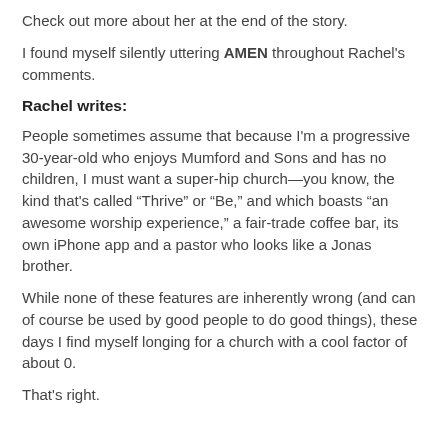Check out more about her at the end of the story.
I found myself silently uttering AMEN throughout Rachel's comments.
Rachel writes:
People sometimes assume that because I'm a progressive 30-year-old who enjoys Mumford and Sons and has no children, I must want a super-hip church—you know, the kind that's called “Thrive” or “Be,” and which boasts “an awesome worship experience,” a fair-trade coffee bar, its own iPhone app and a pastor who looks like a Jonas brother.
While none of these features are inherently wrong (and can of course be used by good people to do good things), these days I find myself longing for a church with a cool factor of about 0.
That's right.